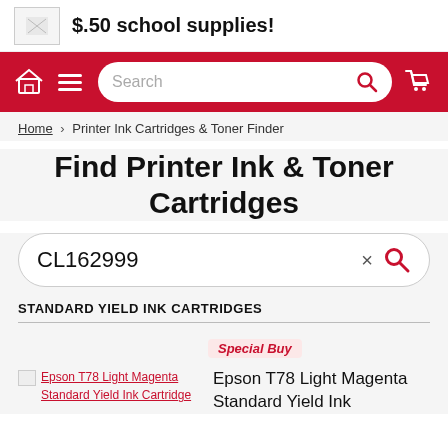$.50 school supplies!
[Figure (screenshot): Red navigation bar with home icon, hamburger menu, search box, and cart icon]
Home › Printer Ink Cartridges & Toner Finder
Find Printer Ink & Toner Cartridges
CL162999
STANDARD YIELD INK CARTRIDGES
Special Buy
Epson T78 Light Magenta Standard Yield Ink Cartridge
Epson T78 Light Magenta Standard Yield Ink